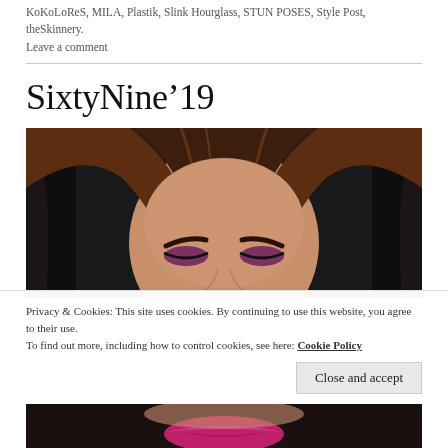KoKoLoReS, MILA, Plastik, Slink Hourglass, STUN POSES, Style Post, theSkinnery.
Leave a comment
SixtyNine’19
[Figure (photo): Close-up portrait of a woman with brown hair and purple eye makeup, rendered in 3D/digital art style against a dark background.]
Privacy & Cookies: This site uses cookies. By continuing to use this website, you agree to their use.
To find out more, including how to control cookies, see here: Cookie Policy
Close and accept
[Figure (photo): Bottom strip of a second portrait image showing a woman with pink/magenta lipstick.]